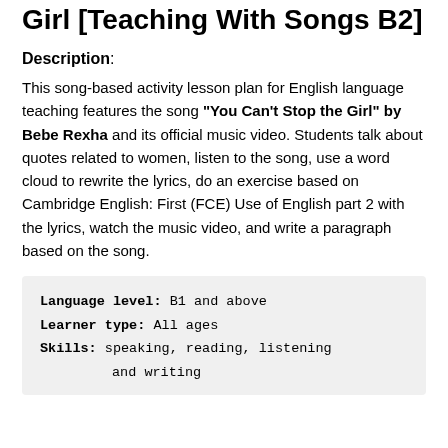Girl [Teaching With Songs B2]
Description:
This song-based activity lesson plan for English language teaching features the song "You Can't Stop the Girl" by Bebe Rexha and its official music video. Students talk about quotes related to women, listen to the song, use a word cloud to rewrite the lyrics, do an exercise based on Cambridge English: First (FCE) Use of English part 2 with the lyrics, watch the music video, and write a paragraph based on the song.
| Language level: | B1 and above |
| Learner type: | All ages |
| Skills: | speaking, reading, listening and writing |